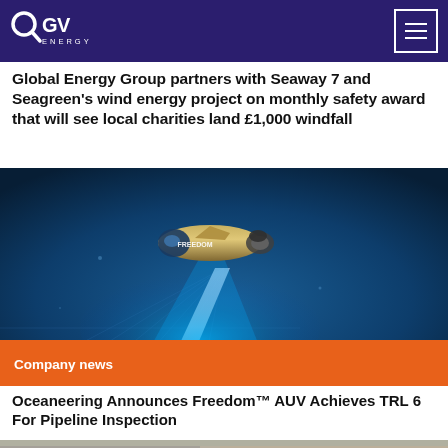OGV Energy
Global Energy Group partners with Seaway 7 and Seagreen's wind energy project on monthly safety award that will see local charities land £1,000 windfall
[Figure (photo): Oceaneering Freedom AUV underwater vehicle scanning a pipeline, glowing blue light under the craft on a blue sea-bed surface. Orange 'Company news' banner overlaid at the bottom.]
Oceaneering Announces Freedom™ AUV Achieves TRL 6 For Pipeline Inspection
[Figure (photo): Partial view of people standing in an industrial setting, image cropped at bottom of page.]